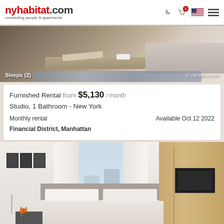nyhabitat.com — connecting people & apartments
[Figure (photo): Interior photo of a furnished apartment living area with a coffee table, book, mug, and sofa. Text overlay reads 'Sleeps (2)' on the left and '© nyhabitat.com' on the right.]
Furnished Rental from $5,130 / month
Studio, 1 Bathroom - New York
Monthly rental
Financial District, Manhattan
Available Oct 12 2022
[Figure (photo): Interior photo of a furnished studio bedroom with a large bed with white linens and orange tulips on the nightstand, black-and-white art prints on the left wall, a bright window in the center background, and a large wooden wardrobe with mounted flat-screen TV on the right.]